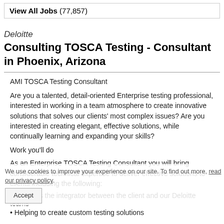View All Jobs (77,857)
Deloitte
Consulting TOSCA Testing - Consultant in Phoenix, Arizona
AMI TOSCA Testing Consultant
Are you a talented, detail-oriented Enterprise testing professional, interested in working in a team atmosphere to create innovative solutions that solves our clients' most complex issues? Are you interested in creating elegant, effective solutions, while continually learning and expanding your skills?
Work you'll do
As an Enterprise TOSCA Testing Consultant you will bring considerable technical expertise to deliver effective solutions to clients including the following:
We use cookies to improve your experience on our site. To find out more, read our privacy policy.
• Acting as the integrator between the client and our Deloitte teams
• Helping to create custom testing solutions